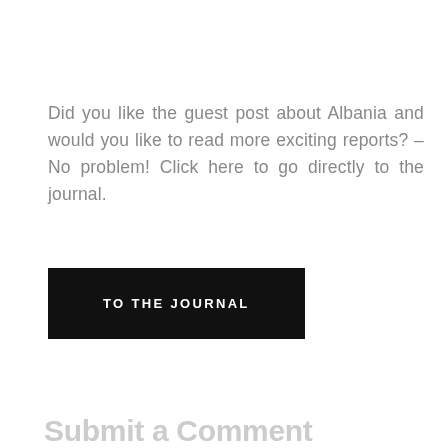Did you like the guest post about Albania and would you like to read more exciting reports? – No problem! Click here to go directly to the journal.
TO THE JOURNAL
Submit a Comment